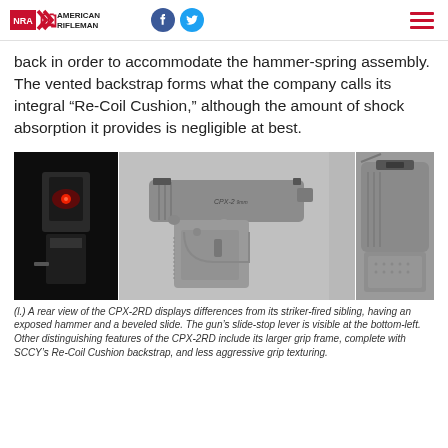NRA American Rifleman
back in order to accommodate the hammer-spring assembly. The vented backstrap forms what the company calls its integral “Re-Coil Cushion,” although the amount of shock absorption it provides is negligible at best.
[Figure (photo): Three-panel image: left panel shows rear view of CPX-2RD with exposed hammer and red dot; center panel shows full side profile of CPX-2 9mm pistol in gray; right panel shows close-up of beveled slide and rear sight.]
(l.) A rear view of the CPX-2RD displays differences from its striker-fired sibling, having an exposed hammer and a beveled slide. The gun’s slide-stop lever is visible at the bottom-left. Other distinguishing features of the CPX-2RD include its larger grip frame, complete with SCCY’s Re-Coil Cushion backstrap, and less aggressive grip texturing.